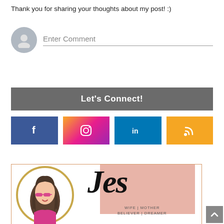Thank you for sharing your thoughts about my post! :)
[Figure (illustration): User avatar placeholder circle with person silhouette icon, followed by 'Enter Comment' placeholder text with a horizontal line beneath it]
Let's Connect!
[Figure (infographic): Four social media buttons: Facebook (blue, 'f'), Instagram (gradient pink/purple, camera icon), LinkedIn (blue, 'in'), RSS (yellow/gold, wifi/rss icon)]
[Figure (illustration): Blog author profile image: illustrated woman with dark hair, pink glasses, pink top, inside a gold circle. Text 'Jes' in large script. Pink background card with 'WIFE | MOTHER BELIEVER | DREAMER' tagline. Pink border card.]